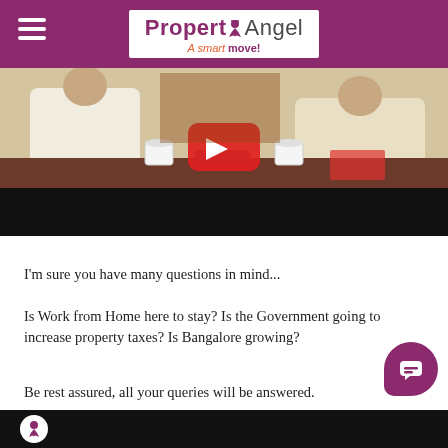PropertyAngel – A smart move!
[Figure (photo): Two men sitting at a meeting table with coffee cups, notebooks and a landline phone on the desk, in an office setting. The image has a dark/black area at the bottom.]
I'm sure you have many questions in mind...
Is Work from Home here to stay? Is the Government going to increase property taxes? Is Bangalore growing?
Be rest assured, all your queries will be answered.
[Figure (screenshot): Dark bottom strip with a white circular logo icon (PropertyAngel angel figure) on the left.]